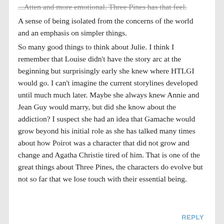...Atten and more emotional. Three Pines has that feel. A sense of being isolated from the concerns of the world and an emphasis on simpler things.
So many good things to think about Julie. I think I remember that Louise didn't have the story arc at the beginning but surprisingly early she knew where HTLGI would go. I can't imagine the current storylines developed until much much later. Maybe she always knew Annie and Jean Guy would marry, but did she know about the addiction? I suspect she had an idea that Gamache would grow beyond his initial role as she has talked many times about how Poirot was a character that did not grow and change and Agatha Christie tired of him. That is one of the great things about Three Pines, the characters do evolve but not so far that we lose touch with their essential being.
REPLY